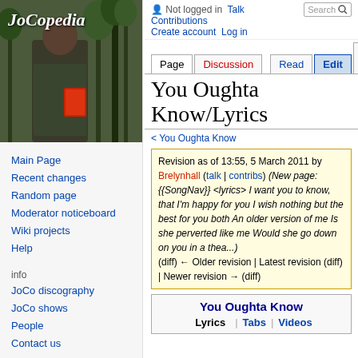[Figure (photo): JoCopedia wiki logo - photo of a person holding a book outdoors with 'JoCopedia' text overlay]
Main Page
Recent changes
Random page
Moderator noticeboard
Wiki projects
Help
info
JoCo discography
JoCo shows
People
Contact us
external links
Not logged in  Talk  Contributions  Create account  Log in
Page | Discussion | Read | Edit | View history | Search
You Oughta Know/Lyrics
< You Oughta Know
Revision as of 13:55, 5 March 2011 by Brelynhall (talk | contribs) (New page: {{SongNav}} <lyrics> I want you to know, that I'm happy for you I wish nothing but the best for you both An older version of me Is she perverted like me Would she go down on you in a thea...) (diff) ← Older revision | Latest revision (diff) | Newer revision → (diff)
You Oughta Know
Lyrics | Tabs | Videos